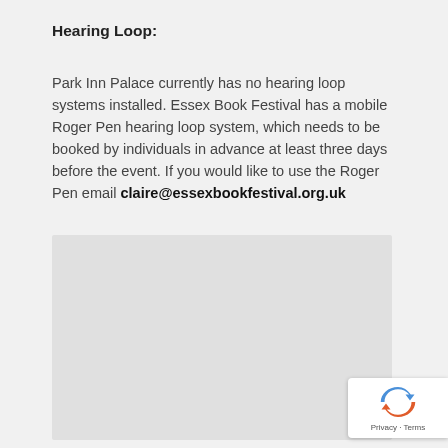Hearing Loop:
Park Inn Palace currently has no hearing loop systems installed. Essex Book Festival has a mobile Roger Pen hearing loop system, which needs to be booked by individuals in advance at least three days before the event. If you would like to use the Roger Pen email claire@essexbookfestival.org.uk
[Figure (map): Embedded Google Maps placeholder showing a light grey rectangle area]
[Figure (logo): reCAPTCHA badge with Privacy and Terms links]